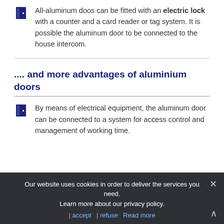All-aluminum doos can be fitted with an electric lock with a counter and a card reader or tag system. It is possible the aluminum door to be connected to the house intercom.
.... and more advantages of aluminium doors
By means of electrical equipment, the aluminum door can be connected to a system for access control and management of working time.
Our website uses cookies in order to deliver the services you need. Learn more about our privacy policy. | accept  | refuse  Read more